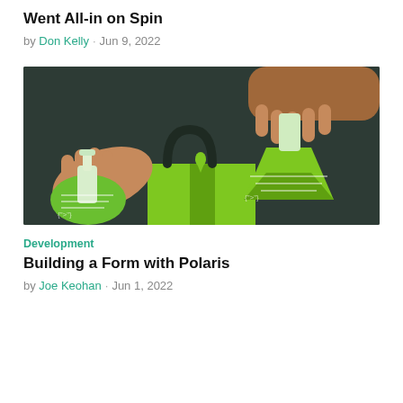Went All-in on Spin
by Don Kelly · Jun 9, 2022
[Figure (illustration): Illustration of two hands holding laboratory flasks (one round-bottom, one Erlenmeyer) over a green shopping bag on a dark background, with green liquid and a drop falling into the bag.]
Development
Building a Form with Polaris
by Joe Keohan · Jun 1, 2022